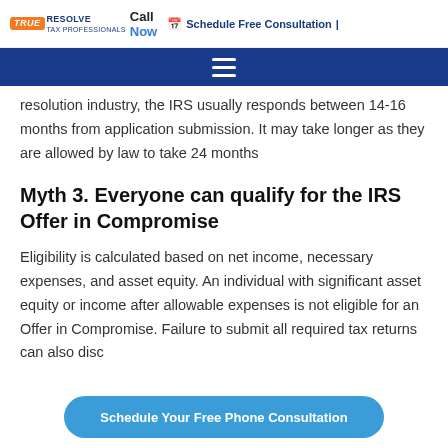True Resolve Tax Professionals | Call Now | Schedule Free Consultation
resolution industry, the IRS usually responds between 14-16 months from application submission. It may take longer as they are allowed by law to take 24 months
Myth 3. Everyone can qualify for the IRS Offer in Compromise
Eligibility is calculated based on net income, necessary expenses, and asset equity. An individual with significant asset equity or income after allowable expenses is not eligible for an Offer in Compromise. Failure to submit all required tax returns can also disc…
Schedule Your Free Phone Consultation